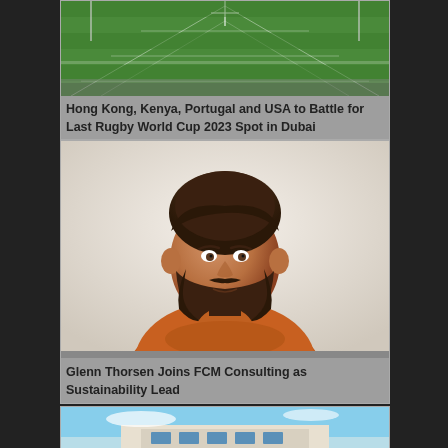[Figure (photo): Aerial view of rugby/football fields with green grass, white yard lines, and spectators along the sidelines.]
Hong Kong, Kenya, Portugal and USA to Battle for Last Rugby World Cup 2023 Spot in Dubai
[Figure (photo): Portrait photo of a young man with brown hair and a beard, wearing an orange sweater, against a light background.]
Glenn Thorsen Joins FCM Consulting as Sustainability Lead
[Figure (photo): Partial view of a building against a blue sky, cut off at the bottom of the page.]